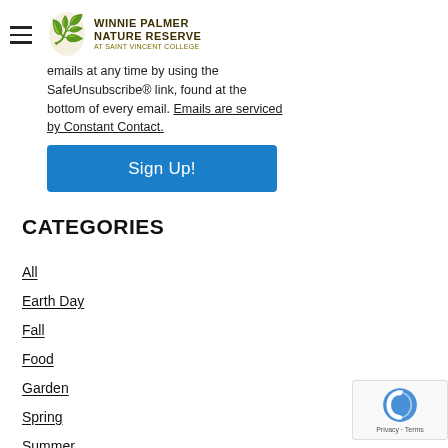Winnie Palmer Nature Reserve at Saint Vincent College
emails at any time by using the SafeUnsubscribe® link, found at the bottom of every email. Emails are serviced by Constant Contact.
Sign Up!
CATEGORIES
All
Earth Day
Fall
Food
Garden
Spring
Summer
TOP 10